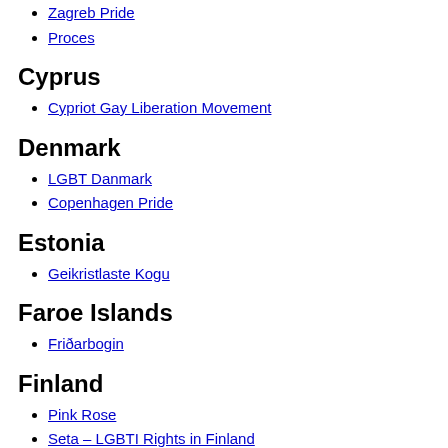Zagreb Pride
Proces
Cyprus
Cypriot Gay Liberation Movement
Denmark
LGBT Danmark
Copenhagen Pride
Estonia
Geikristlaste Kogu
Faroe Islands
Friðarbogin
Finland
Pink Rose
Seta – LGBTI Rights in Finland